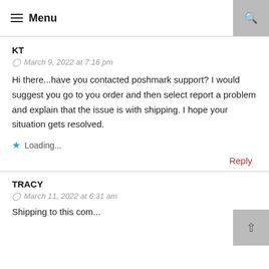Menu
KT
March 9, 2022 at 7:16 pm
Hi there...have you contacted poshmark support? I would suggest you go to you order and then select report a problem and explain that the issue is with shipping. I hope your situation gets resolved.
Loading...
Reply
TRACY
March 11, 2022 at 6:31 am